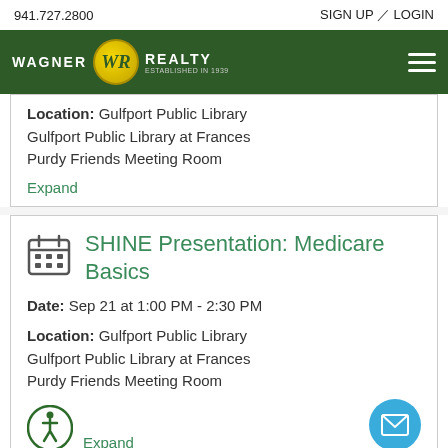941.727.2800   SIGN UP / LOGIN
[Figure (logo): Wagner Realty logo with green background, yellow circle emblem and hamburger menu]
Location: Gulfport Public Library Gulfport Public Library at Frances Purdy Friends Meeting Room
Expand
SHINE Presentation: Medicare Basics
Date: Sep 21 at 1:00 PM - 2:30 PM
Location: Gulfport Public Library Gulfport Public Library at Frances Purdy Friends Meeting Room
Expand